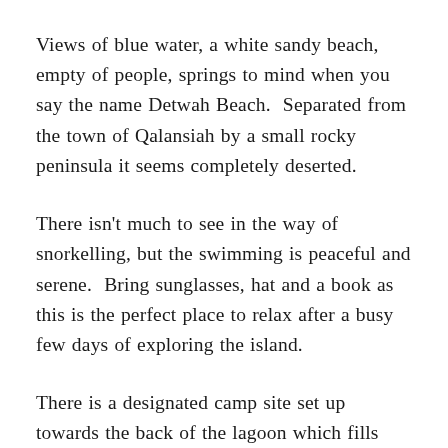Views of blue water, a white sandy beach, empty of people, springs to mind when you say the name Detwah Beach.  Separated from the town of Qalansiah by a small rocky peninsula it seems completely deserted.
There isn't much to see in the way of snorkelling, but the swimming is peaceful and serene.  Bring sunglasses, hat and a book as this is the perfect place to relax after a busy few days of exploring the island.
There is a designated camp site set up towards the back of the lagoon which fills